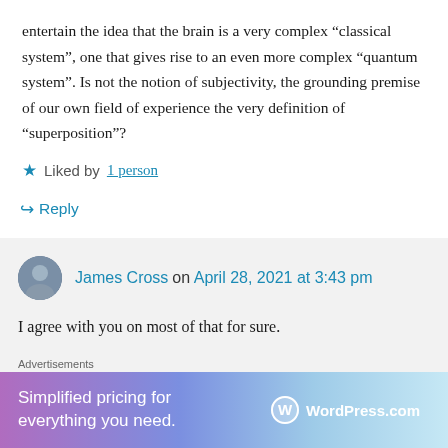entertain the idea that the brain is a very complex “classical system”, one that gives rise to an even more complex “quantum system”. Is not the notion of subjectivity, the grounding premise of our own field of experience the very definition of “superposition”?
★ Liked by 1 person
↪ Reply
James Cross on April 28, 2021 at 3:43 pm
I agree with you on most of that for sure.
Advertisements
[Figure (infographic): WordPress.com advertisement banner: 'Simplified pricing for everything you need.' with WordPress.com logo on gradient purple-blue background.]